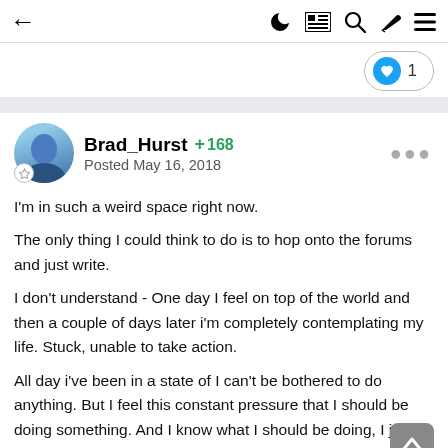← (back) | (dark mode) (grid) (search) (brush) (menu)
1 (like count)
Brad_Hurst +168
Posted May 16, 2018
I'm in such a weird space right now.

The only thing I could think to do is to hop onto the forums and just write.

I don't understand - One day I feel on top of the world and then a couple of days later i'm completely contemplating my life. Stuck, unable to take action.

All day i've been in a state of I can't be bothered to do anything. But I feel this constant pressure that I should be doing something. And I know what I should be doing, I just can't seem to bring